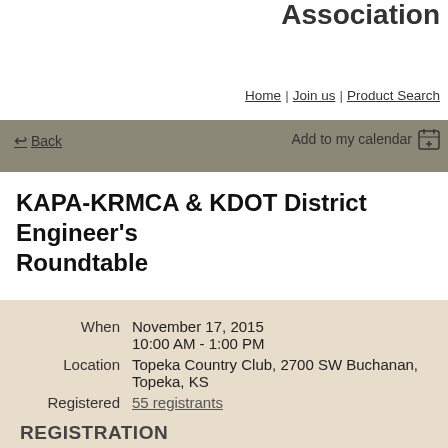Association
Home | Join us | Product Search
← Back    Add to my calendar 🗓
KAPA-KRMCA & KDOT District Engineer's Roundtable
|  |  |
| --- | --- |
| When | November 17, 2015
10:00 AM - 1:00 PM |
| Location | Topeka Country Club, 2700 SW Buchanan, Topeka, KS |
| Registered | 55 registrants |
REGISTRATION